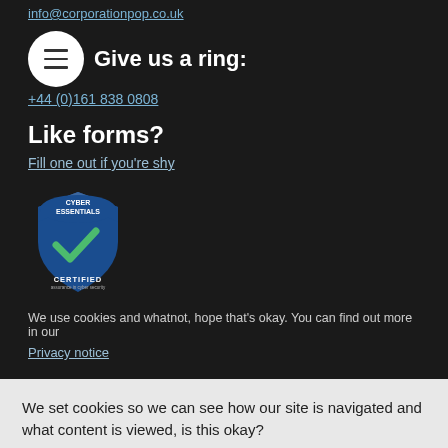info@corporationpop.co.uk
Give us a ring:
+44 (0)161 838 0808
Like forms?
Fill one out if you're shy
[Figure (logo): Cyber Essentials Certified badge - blue shield with green checkmark]
We use cookies and whatnot, hope that's okay. You can find out more in our
Privacy notice
We set cookies so we can see how our site is navigated and what content is viewed, is this okay?
That's fine with me
Preferences